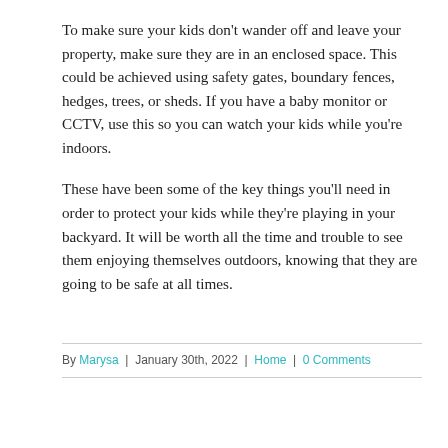To make sure your kids don't wander off and leave your property, make sure they are in an enclosed space. This could be achieved using safety gates, boundary fences, hedges, trees, or sheds. If you have a baby monitor or CCTV, use this so you can watch your kids while you're indoors.
These have been some of the key things you'll need in order to protect your kids while they're playing in your backyard. It will be worth all the time and trouble to see them enjoying themselves outdoors, knowing that they are going to be safe at all times.
By Marysa | January 30th, 2022 | Home | 0 Comments